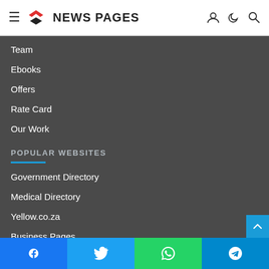NEWS PAGES
Team
Ebooks
Offers
Rate Card
Our Work
POPULAR WEBSITES
Government Directory
Medical Directory
Yellow.co.za
Business Pages